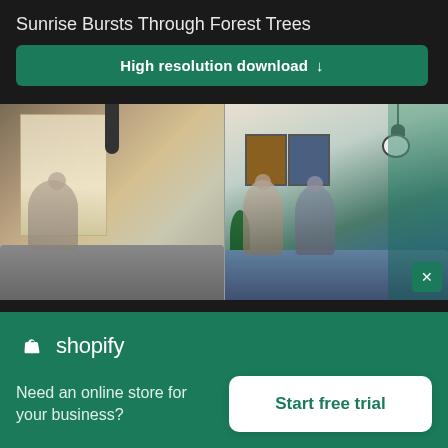Sunrise Bursts Through Forest Trees
High resolution download ↓
[Figure (photo): Split office photo: left half shows a person sitting in a lounge chair near a large window with natural light; right half shows two people working on laptops in a modern lounge area with colorful wall art and a pendant lamp.]
[Figure (logo): Shopify logo: shopping bag icon and 'shopify' wordmark in white on green background]
Need an online store for your business?
Start free trial